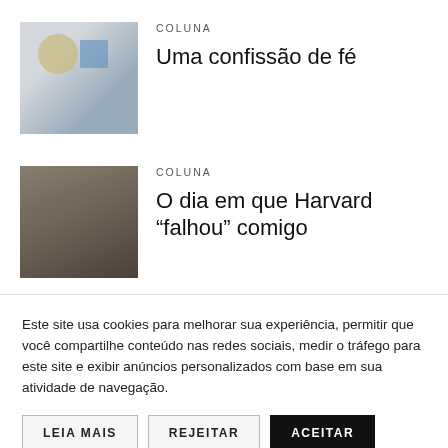[Figure (photo): Thumbnail photo of a person, blurred, with colorful sticky notes in background]
COLUNA
Uma confissão de fé
[Figure (photo): Thumbnail photo of a group of people, blurred, dark tones]
COLUNA
O dia em que Harvard “falhou” comigo
Este site usa cookies para melhorar sua experiência, permitir que você compartilhe conteúdo nas redes sociais, medir o tráfego para este site e exibir anúncios personalizados com base em sua atividade de navegação.
LEIA MAIS
REJEITAR
ACEITAR